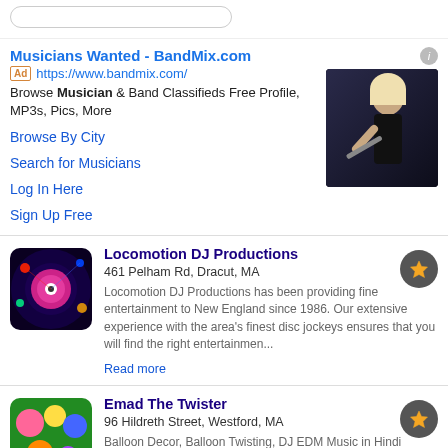[Figure (screenshot): Search bar area at top of mobile search results page]
Musicians Wanted - BandMix.com
Ad https://www.bandmix.com/
Browse Musician & Band Classifieds Free Profile, MP3s, Pics, More
Browse By City
Search for Musicians
Log In Here
Sign Up Free
[Figure (photo): Photo of a blonde woman in black dress holding a flute instrument]
[Figure (photo): Photo thumbnail for Locomotion DJ Productions showing DJ equipment with colorful lights]
Locomotion DJ Productions
461 Pelham Rd, Dracut, MA
Locomtion DJ Productions has been providing fine entertainment to New England since 1986. Our extensive experience with the area's finest disc jockeys ensures that you will find the right entertainmen...
Read more
[Figure (photo): Photo thumbnail for Emad The Twister showing balloon decorations]
Emad The Twister
96 Hildreth Street, Westford, MA
Balloon Decor, Balloon Twisting, DJ EDM Music in Hindi